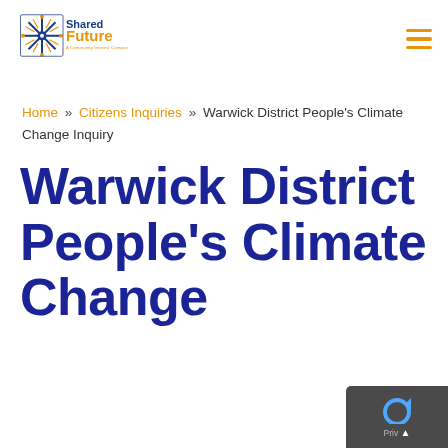[Figure (logo): Shared Future – A Community Interest Company logo with starburst graphic in blue/gold]
[Figure (other): Hamburger menu icon (three orange horizontal lines) in top-right corner]
Home » Citizens Inquiries » Warwick District People's Climate Change Inquiry
Warwick District People's Climate Change Inquiry